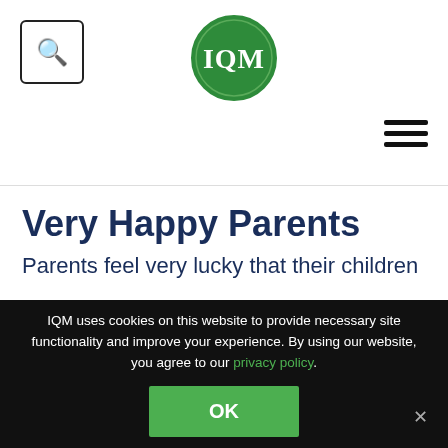[Figure (logo): Search icon inside a square button with rounded corners]
[Figure (logo): IQM circular green logo with white text 'IQM']
[Figure (other): Hamburger menu icon with three horizontal lines]
Very Happy Parents
Parents feel very lucky that their children
IQM uses cookies on this website to provide necessary site functionality and improve your experience. By using our website, you agree to our privacy policy.
OK